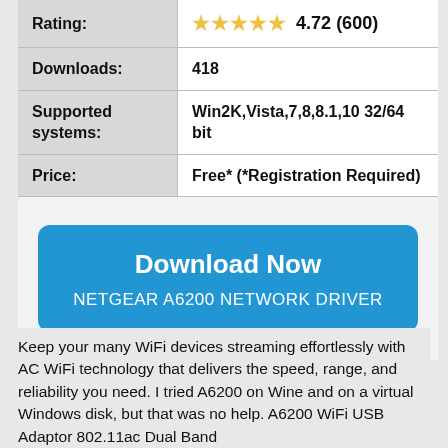| Rating: | ⭐⭐⭐⭐⭐ 4.72 (600) |
| Downloads: | 418 |
| Supported systems: | Win2K,Vista,7,8,8.1,10 32/64 bit |
| Price: | Free* (*Registration Required) |
|  | Download Now NETGEAR A6200 NETWORK DRIVER |
Keep your many WiFi devices streaming effortlessly with AC WiFi technology that delivers the speed, range, and reliability you need. I tried A6200 on Wine and on a virtual Windows disk, but that was no help. A6200 WiFi USB Adaptor 802.11ac Dual Band